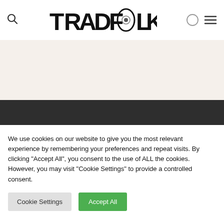TRADFOLK — navigation header with search, logo, dark mode, and menu icons
[Figure (logo): TRADFOLK logo with stylized hand-lettered text including an eye graphic within the letter O]
We use cookies on our website to give you the most relevant experience by remembering your preferences and repeat visits. By clicking "Accept All", you consent to the use of ALL the cookies. However, you may visit "Cookie Settings" to provide a controlled consent.
Cookie Settings
Accept All